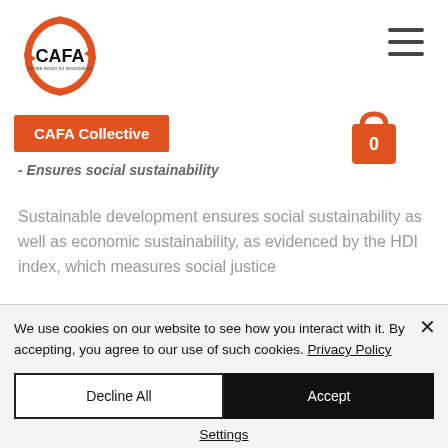CAFA logo and navigation header
[Figure (logo): CAFA logo with orange circular arrows and black CAFA text in center]
[Figure (illustration): Hamburger menu icon (three horizontal lines)]
CAFA Collective
[Figure (illustration): Orange shopping bag icon with 0 count]
- Ensures social sustainability
Sustainable development ensures social sustainability as well as economic sustainability, as evidenced by the HDI index, which measures social justice
We use cookies on our website to see how you interact with it. By accepting, you agree to our use of such cookies. Privacy Policy
Decline All
Accept
Settings